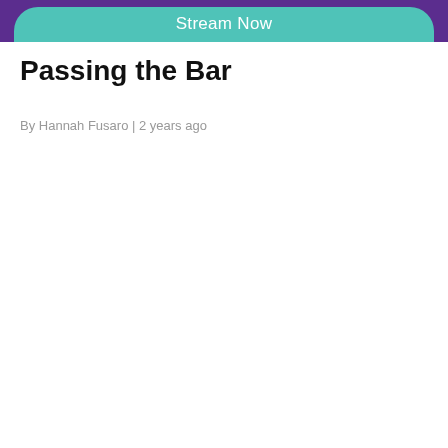Stream Now
Passing the Bar
By Hannah Fusaro | 2 years ago